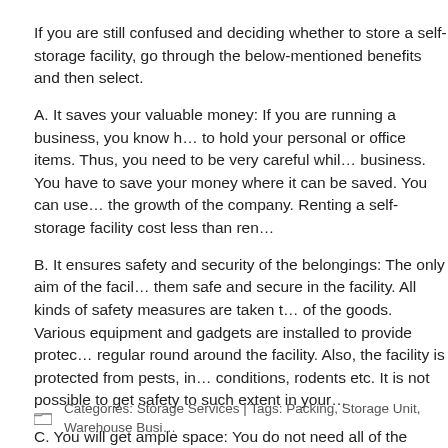If you are still confused and deciding whether to store a self-storage facility, go through the below-mentioned benefits and then select.
A. It saves your valuable money: If you are running a business, you know how difficult it is to hold your personal or office items. Thus, you need to be very careful while managing a business. You have to save your money where it can be saved. You can use this savings for the growth of the company. Renting a self-storage facility cost less than ren…
B. It ensures safety and security of the belongings: The only aim of the facil… to keep them safe and secure in the facility. All kinds of safety measures are taken to ensure safety of the goods. Various equipment and gadgets are installed to provide prote… There is regular round around the facility. Also, the facility is protected from pests, in… conditions, rodents etc. It is not possible to get safety to such extent in your…
C. You will get ample space: You do not need all of the business tools, reco… for instant use. Thus, rather than messing up the whole space with such items,… storage unit. You can also keep your seasonal belongings here. It also incre… your home or office.
Categories: Storage Services | Tags: Packing, Storage Unit, Warehouse Busi…